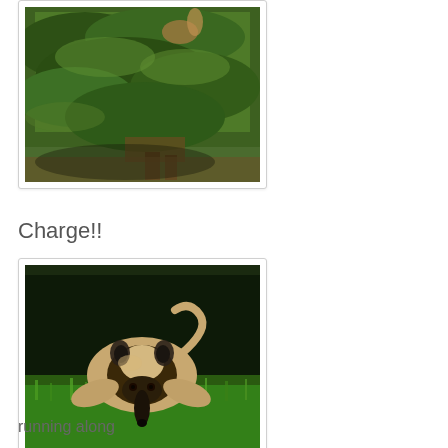[Figure (photo): Photo of an animal among green pine/fern foliage, viewed from above. Animal partially visible among dense green branches.]
Charge!!
[Figure (photo): Photo of a tamandua (anteater) on green grass at night, facing the camera with its elongated snout pointing forward, dark background.]
running along